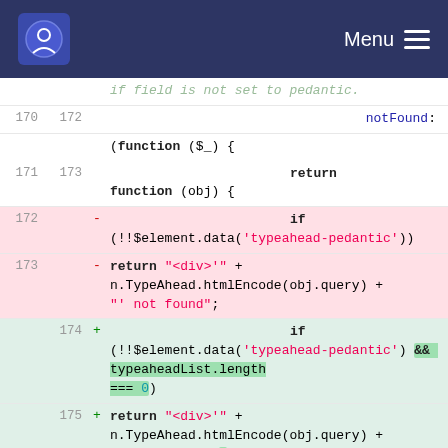Menu
[Figure (screenshot): Code diff view showing lines 170-175 of a JavaScript file. Lines 172-173 are deleted (red background) and lines 174-175 are added (green background). The diff shows a change from checking only '!!$element.data(typeahead-pedantic)' to also checking '&& typeaheadList.length === 0'.]